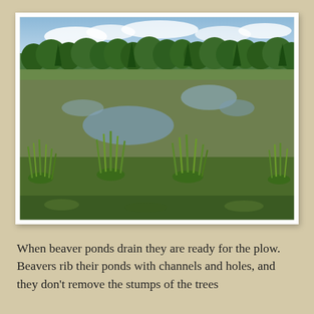[Figure (photo): A shallow beaver pond or wetland area covered with aquatic vegetation and duckweed, with clumps of green grasses in the foreground, open water visible in patches, and a tree line of green deciduous and coniferous trees in the background under a partly cloudy blue sky.]
When beaver ponds drain they are ready for the plow. Beavers rib their ponds with channels and holes, and they don't remove the stumps of the trees